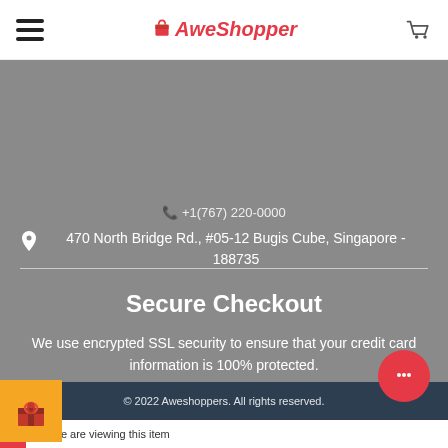AweShopper navigation bar with hamburger menu and cart icon
470 North Bridge Rd., #05-12 Bugis Cube, Singapore - 188735
Secure Checkout
We use encrypted SSL security to ensure that your credit card information is 100% protected.
[Figure (logo): Payment method icons: VISA, Mastercard, AMEX, PayPal, Shopify Secure]
© 2022 Aweshoppers. All rights reserved.
3 people are viewing this item